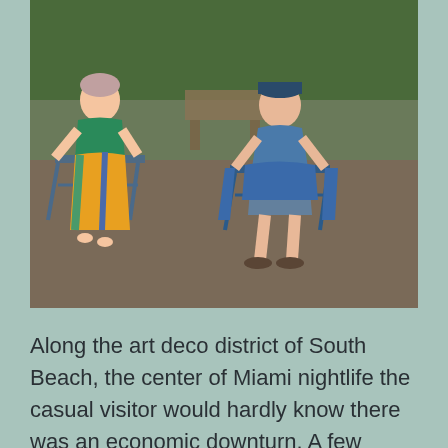[Figure (photo): Two people sitting in folding chairs outdoors on dirt/gravel ground with greenery in the background. Person on left wears a green outfit and colorful wrap, person on right wears a blue t-shirt and shorts with a blue towel.]
Along the art deco district of South Beach, the center of Miami nightlife the casual visitor would hardly know there was an economic downturn. A few businesses are closed, and down the side streets there are homes that show signs of being foreclosed. But the busy tourist trade still serves the Miami area well.
Like in California's Silicon Valley, one can best...